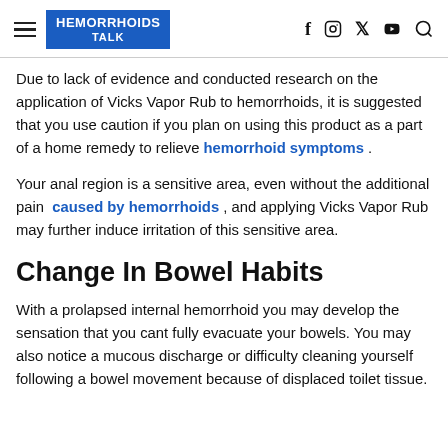HEMORRHOIDS TALK
Due to lack of evidence and conducted research on the application of Vicks Vapor Rub to hemorrhoids, it is suggested that you use caution if you plan on using this product as a part of a home remedy to relieve hemorrhoid symptoms .
Your anal region is a sensitive area, even without the additional pain caused by hemorrhoids , and applying Vicks Vapor Rub may further induce irritation of this sensitive area.
Change In Bowel Habits
With a prolapsed internal hemorrhoid you may develop the sensation that you cant fully evacuate your bowels. You may also notice a mucous discharge or difficulty cleaning yourself following a bowel movement because of displaced toilet tissue.